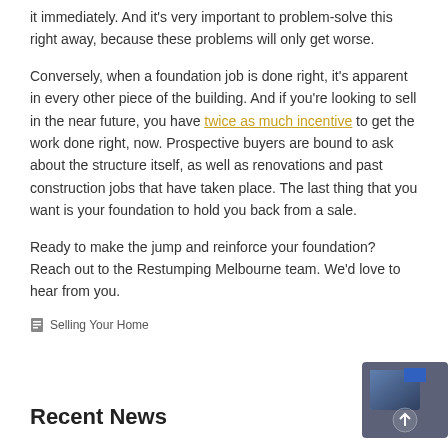it immediately. And it's very important to problem-solve this right away, because these problems will only get worse.
Conversely, when a foundation job is done right, it's apparent in every other piece of the building. And if you're looking to sell in the near future, you have twice as much incentive to get the work done right, now. Prospective buyers are bound to ask about the structure itself, as well as renovations and past construction jobs that have taken place. The last thing that you want is your foundation to hold you back from a sale.
Ready to make the jump and reinforce your foundation? Reach out to the Restumping Melbourne team. We'd love to hear from you.
Selling Your Home
Recent News